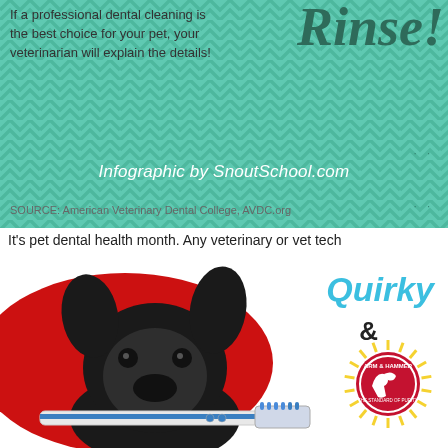[Figure (infographic): Top section of a pet dental health infographic with teal/mint background with chevron pattern. Text on left reads 'If a professional dental cleaning is the best choice for your pet, your veterinarian will explain the details!' Large italic text on right reads 'Rinse!' Credit line reads 'Infographic by SnoutSchool.com'. Source line reads 'SOURCE: American Veterinary Dental College, AVDC.org']
It's pet dental health month. Any veterinary or vet tech
[Figure (photo): Black and white photo of a French Bulldog holding a blue and white toothbrush in its mouth, posed against a large red circle background. To the right, teal text reads 'Quirky' with an ampersand and the Arm & Hammer logo (circular red badge with yellow sunburst rays).]